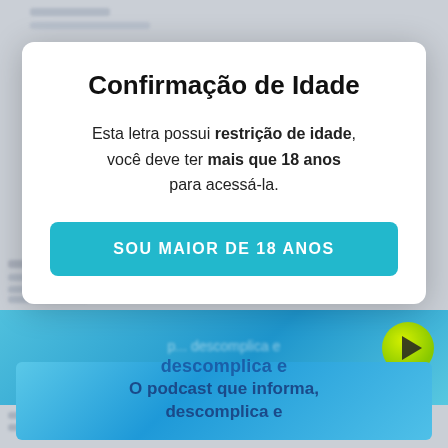[Figure (screenshot): Blurred background showing a webpage with rows of text content, a blue gradient banner with text 'descomplica e', and a green play button icon in the lower right area]
Confirmação de Idade
Esta letra possui restrição de idade, você deve ter mais que 18 anos para acessá-la.
SOU MAIOR DE 18 ANOS
descomplica e
O podcast que informa, descomplica e